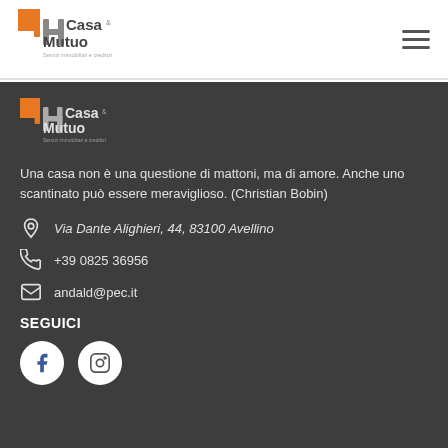[Figure (logo): 4Casa & Mutuo logo with tagline 'Servizi immobiliari e creditizi' in header]
[Figure (logo): 4Casa & Mutuo logo with tagline 'Servizi immobiliari e creditizi' in dark footer section]
Una casa non è una questione di mattoni, ma di amore. Anche uno scantinato può essere meraviglioso. (Christian Bobin)
Via Dante Alighieri, 44, 83100 Avellino
+39 0825 36956
andald@pec.it
SEGUICI
[Figure (illustration): Facebook and Instagram social media icons as white circles]